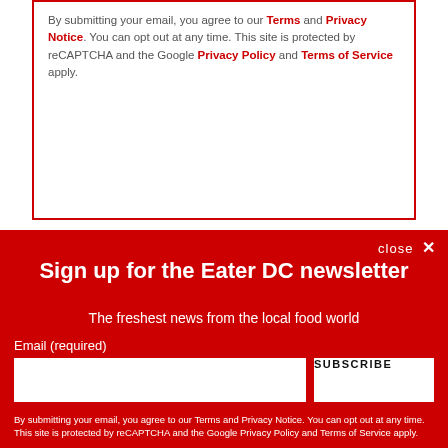By submitting your email, you agree to our Terms and Privacy Notice. You can opt out at any time. This site is protected by reCAPTCHA and the Google Privacy Policy and Terms of Service apply.
SUBSCRIBE
close ✕
Sign up for the Eater DC newsletter
The freshest news from the local food world
Email (required)
SUBSCRIBE
By submitting your email, you agree to our Terms and Privacy Notice. You can opt out at any time. This site is protected by reCAPTCHA and the Google Privacy Policy and Terms of Service apply.